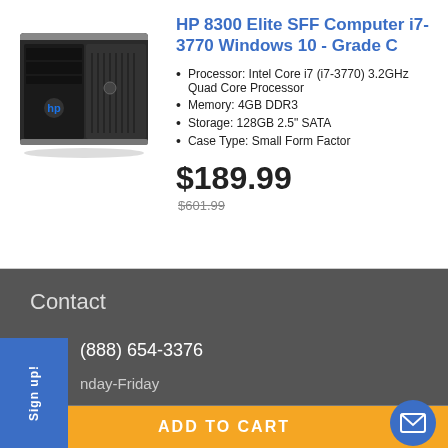[Figure (photo): HP 8300 Elite SFF computer desktop tower, black color, front view]
HP 8300 Elite SFF Computer i7-3770 Windows 10 - Grade C
Processor: Intel Core i7 (i7-3770) 3.2GHz Quad Core Processor
Memory: 4GB DDR3
Storage: 128GB 2.5" SATA
Case Type: Small Form Factor
$189.99
$601.99
Contact
Sign up!
(888) 654-3376
nday-Friday
ADD TO CART